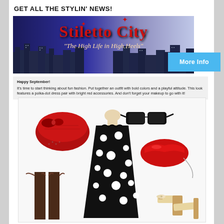GET ALL THE STYLIN' NEWS!
[Figure (illustration): Stiletto City banner with dark blue city skyline silhouette background, red text 'Stiletto City' and subtitle 'The High Life in High Heels']
More Info
Happy September!
It's time to start thinking about fun fashion. Put together an outfit with bold colors and a playful attitude. This look features a polka-dot dress pair with bright red accessories. And don't forget your makeup to go with it!
[Figure (photo): Fashion collage showing a red pillbox hat with bow, black cat-eye sunglasses, a black and white polka-dot halter dress on a mannequin, a red lip-shaped clutch purse, brown thigh-high stockings with garters, and tan/cream vintage-style heeled shoes]